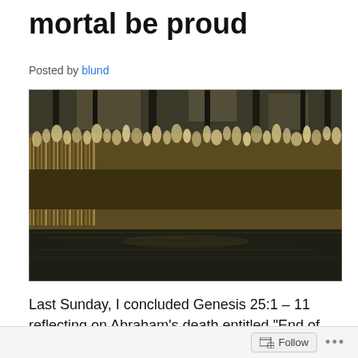mortal be proud
Posted by blund
[Figure (photo): Outdoor nature photograph showing tall reeds or grasses with feathery tops along the edge of a dark still pond or river, with bare trees in the background. The light appears to be low winter sunlight creating a backlit effect.]
Last Sunday, I concluded Genesis 25:1 – 11 reflecting on Abraham’s death entitled “End of the Pilgrimage Road.” By
Follow ...